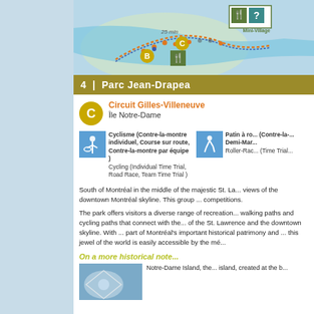[Figure (map): Map of Parc Jean-Drapeau showing cycling route circuit with markers B and C, 25 min label, Mini-Village icon with fork/knife and question mark, and colored dots along the route path.]
4 | Parc Jean-Drapeau
Circuit Gilles-Villeneuve
Île Notre-Dame
Cyclisme (Contre-la-montre individuel, Course sur route, Contre-la-montre par équipe )
Cycling (Individual Time Trial, Road Race, Team Time Trial )
Patin à ro... (Contre-la-... Demi-Mar...
Roller-Rac... (Time Trial...
South of Montréal in the middle of the majestic St. La... views of the downtown Montréal skyline. This group ... competitions.
The park offers visitors a diverse range of recreation... walking paths and cycling paths that connect with the... of the St. Lawrence and the downtown skyline. With ... part of Montréal's important historical patrimony and ... this jewel of the world is easily accessible by the mé...
On a more historical note...
Notre-Dame Island, the... island, created at the b...